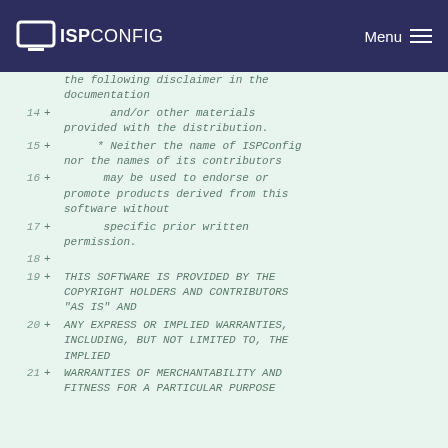ISPConfig | Menu
the following disclaimer in the documentation
14 + and/or other materials provided with the distribution.
15 + * Neither the name of ISPConfig nor the names of its contributors
16 + may be used to endorse or promote products derived from this software without
17 + specific prior written permission.
18 +
19 + THIS SOFTWARE IS PROVIDED BY THE COPYRIGHT HOLDERS AND CONTRIBUTORS "AS IS" AND
20 + ANY EXPRESS OR IMPLIED WARRANTIES, INCLUDING, BUT NOT LIMITED TO, THE IMPLIED
21 + WARRANTIES OF MERCHANTABILITY AND FITNESS FOR A PARTICULAR PURPOSE